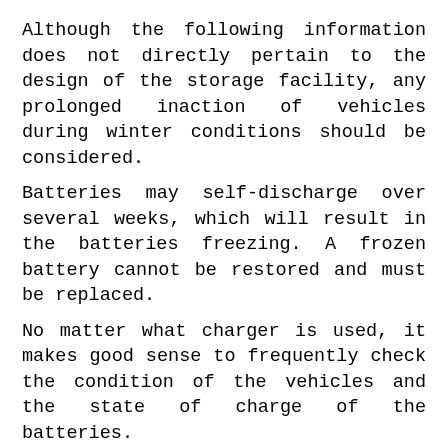Although the following information does not directly pertain to the design of the storage facility, any prolonged inaction of vehicles during winter conditions should be considered.
Batteries may self-discharge over several weeks, which will result in the batteries freezing. A frozen battery cannot be restored and must be replaced.
No matter what charger is used, it makes good sense to frequently check the condition of the vehicles and the state of charge of the batteries.
During periods of storage, the batteries will need regular attention to keep them maintained and prevent discharge. In winter